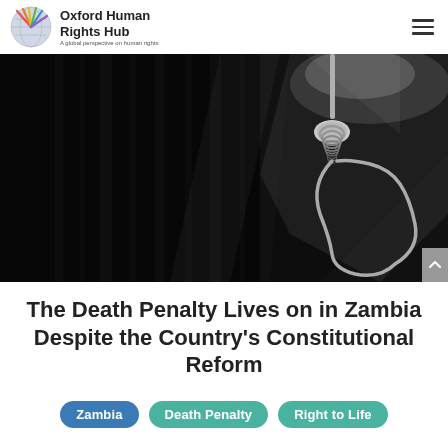Oxford Human Rights Hub — A global perspective on human rights
[Figure (photo): Black and white photograph of a hangman's noose suspended in a dark interior space, with dramatic light and shadow.]
The Death Penalty Lives on in Zambia Despite the Country's Constitutional Reform
Zambia  Death Penalty  Right to Life